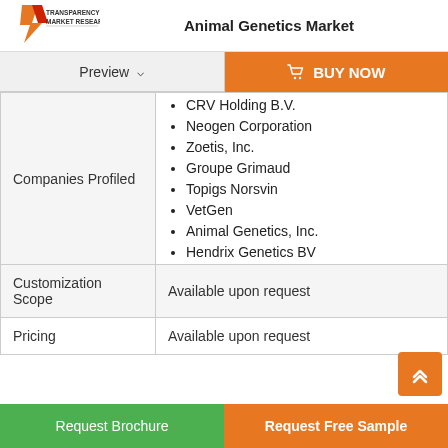Animal Genetics Market
[Figure (logo): Transparency Market Research logo with red and orange geometric design]
Preview | BUY NOW
| Companies Profiled | CRV Holding B.V.
Neogen Corporation
Zoetis, Inc.
Groupe Grimaud
Topigs Norsvin
VetGen
Animal Genetics, Inc.
Hendrix Genetics BV |
| Customization Scope | Available upon request |
| Pricing | Available upon request |
Request Brochure | Request Free Sample